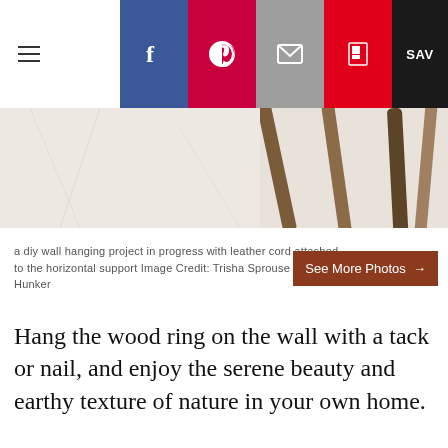Navigation and social sharing buttons including Facebook, Pinterest, Email, Flipboard, Save
[Figure (photo): A DIY wall hanging project in progress with leather cord and horizontal wooden support sticks, photographed on a white marble background]
a diy wall hanging project in progress with leather cord attached to the horizontal support Image Credit: Trisha Sprouse for Hunker
Hang the wood ring on the wall with a tack or nail, and enjoy the serene beauty and earthy texture of nature in your own home.
[Figure (photo): A finished wood ring wall hanging with cord, hanging on a white wall — only the top portion visible]